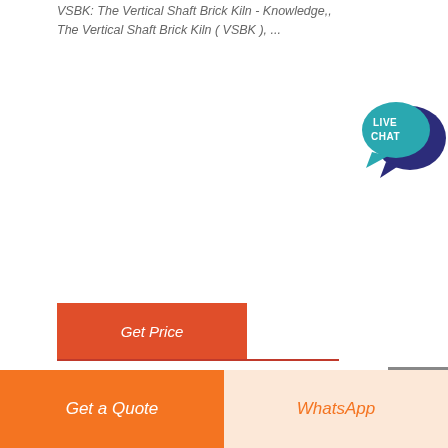VSBK: The Vertical Shaft Brick Kiln - Knowledge,, The Vertical Shaft Brick Kiln ( VSBK ), ...
Get Price
[Figure (photo): Mining equipment facility with industrial conveyor systems, processing machinery, red-roofed buildings, mountains in background, and MINING EQUIPMENT logo overlay]
[Figure (other): Live chat speech bubble icon in teal/dark blue colors with text LIVE CHAT]
Get a Quote
WhatsApp